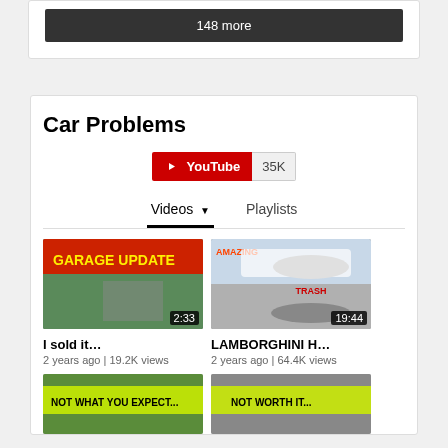148 more
Car Problems
[Figure (screenshot): YouTube subscribe button with 35K subscriber count]
Videos ▼   Playlists
[Figure (screenshot): Video thumbnail: GARAGE UPDATE, duration 2:33]
I sold it…
2 years ago | 19.2K views
[Figure (screenshot): Video thumbnail: AMAZING car and TRASH Lamborghini split screen, duration 19:44]
LAMBORGHINI H…
2 years ago | 64.4K views
[Figure (screenshot): Video thumbnail: NOT WHAT YOU EXPECT...]
[Figure (screenshot): Video thumbnail: NOT WORTH IT...]